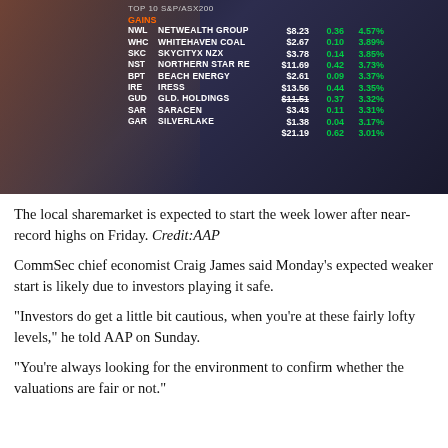[Figure (photo): Stock market ticker board showing TOP 10 S&P/ASX200 GAINS with company names, prices, and percentage changes. Companies listed: NETWEALTH GROUP (NWL) $8.23 +0.36 +4.57%, WHITEHAVEN COAL (WHC) $2.67 +0.10 +3.89%, SKYCITYX NZX (SKC) $3.78 +0.14 +3.85%, NORTHERN STAR RE (NST) $11.69 +0.42 +3.73%, BEACH ENERGY (BPT) $2.61 +0.09 +3.37%, IRESS (IRE) $13.56 +0.44 +3.35%, GUD HOLDINGS $11.51 +0.37 +3.32%, SARACEN (SAR) $3.43 +0.11 +3.31%, SILVERLAKE $1.38 +0.04 +3.17%, (last) $21.19 +0.62 +3.01%. A blurred figure is visible on the left side.]
The local sharemarket is expected to start the week lower after near-record highs on Friday. Credit:AAP
CommSec chief economist Craig James said Monday's expected weaker start is likely due to investors playing it safe.
"Investors do get a little bit cautious, when you're at these fairly lofty levels," he told AAP on Sunday.
"You're always looking for the environment to confirm whether the valuations are fair or not."